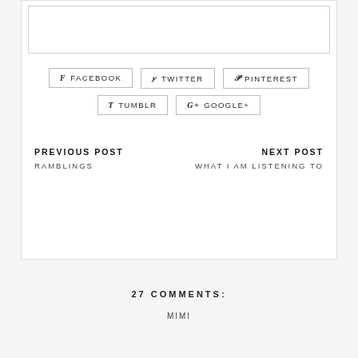[text input area / comment box - empty]
f FACEBOOK
y TWITTER
P PINTEREST
t TUMBLR
G+ GOOGLE+
PREVIOUS POST
RAMBLINGS
NEXT POST
WHAT I AM LISTENING TO
27 COMMENTS:
MIMI